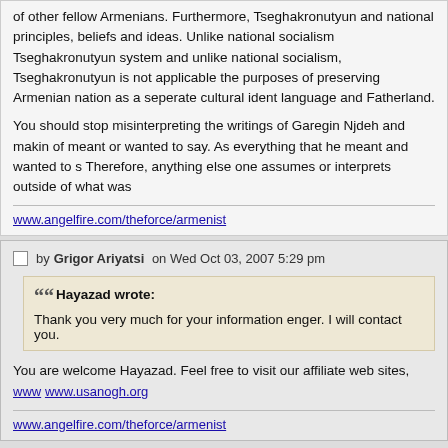of other fellow Armenians. Furthermore, Tseghakronutyun and national principles, beliefs and ideas. Unlike national socialism Tseghakronutyun system and unlike national socialism, Tseghakronutyun is not applicable the purposes of preserving Armenian nation as a seperate cultural ident language and Fatherland.
You should stop misinterpreting the writings of Garegin Njdeh and maki of meant or wanted to say. As everything that he meant and wanted to s Therefore, anything else one assumes or interprets outside of what was
www.angelfire.com/theforce/armenist
by Grigor Ariyatsi on Wed Oct 03, 2007 5:29 pm
Hayazad wrote: Thank you very much for your information enger. I will contact you.
You are welcome Hayazad. Feel free to visit our affiliate web sites, www www.usanogh.org
www.angelfire.com/theforce/armenist